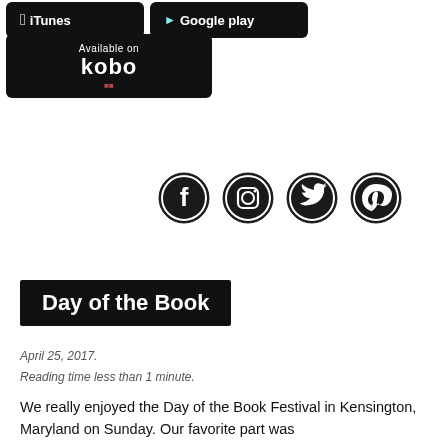[Figure (logo): iTunes app store badge - black rounded rectangle with Apple logo and 'iTunes' text]
[Figure (logo): Google Play store badge - black rounded rectangle with Google Play logo and 'Google play' text]
[Figure (logo): Kobo store badge - black rounded rectangle with 'Available on kobo' text]
[Figure (logo): Four social media icons in circles: Facebook, Instagram, Twitter, Pinterest]
Day of the Book
April 25, 2017.
Reading time less than 1 minute.
We really enjoyed the Day of the Book Festival in Kensington, Maryland on Sunday. Our favorite part was